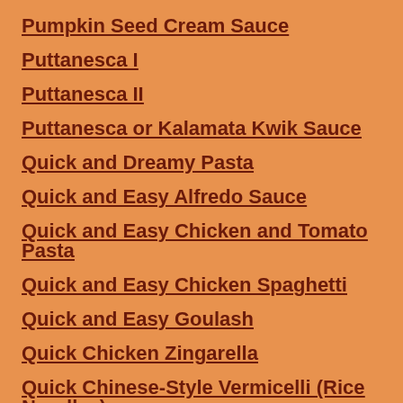Pumpkin Seed Cream Sauce
Puttanesca I
Puttanesca II
Puttanesca or Kalamata Kwik Sauce
Quick and Dreamy Pasta
Quick and Easy Alfredo Sauce
Quick and Easy Chicken and Tomato Pasta
Quick and Easy Chicken Spaghetti
Quick and Easy Goulash
Quick Chicken Zingarella
Quick Chinese-Style Vermicelli (Rice Noodles)
Quick Clam Spaghetti
Quick Gnocchi
Quick Macaroni and Cheese